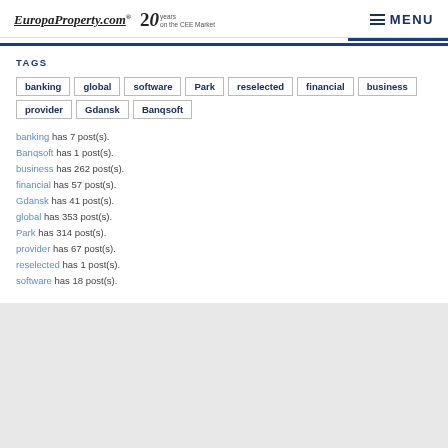EuropaProperty.com® 20 years on the CEE Market | MENU
TAGS
banking
global
software
Park
reselected
financial
business
provider
Gdansk
Banqsoft
banking has 7 post(s).
Banqsoft has 1 post(s).
business has 262 post(s).
financial has 57 post(s).
Gdansk has 41 post(s).
global has 353 post(s).
Park has 314 post(s).
provider has 67 post(s).
reselected has 1 post(s).
software has 18 post(s).